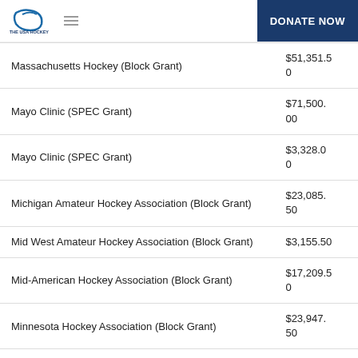THE USA HOCKEY FOUNDATION | DONATE NOW
| Organization | Amount |
| --- | --- |
| Massachusetts Hockey (Block Grant) | $51,351.50 |
| Mayo Clinic (SPEC Grant) | $71,500.00 |
| Mayo Clinic (SPEC Grant) | $3,328.00 |
| Michigan Amateur Hockey Association (Block Grant) | $23,085.50 |
| Mid West Amateur Hockey Association (Block Grant) | $3,155.50 |
| Mid-American Hockey Association (Block Grant) | $17,209.50 |
| Minnesota Hockey Association (Block Grant) | $23,947.50 |